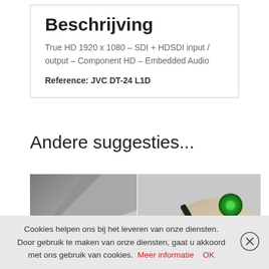Beschrijving
True HD 1920 x 1080 – SDI + HDSDI input / output – Component HD – Embedded Audio
Reference: JVC DT-24 L1D
Andere suggesties...
[Figure (photo): Two product photos side by side: left shows a dark triangular/wedge-shaped device, right shows a hand holding a black device with a green circular element]
Cookies helpen ons bij het leveren van onze diensten. Door gebruik te maken van onze diensten, gaat u akkoord met ons gebruik van cookies.  Meer informatie    OK